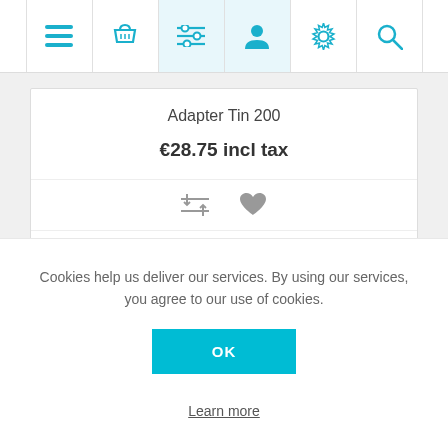[Figure (screenshot): Top navigation bar with icons: hamburger menu, shopping basket, filter/list, user profile, settings gear, search magnifier — all in teal/cyan color]
Adapter Tin 200
€28.75 incl tax
[Figure (other): Two icons: equalizer/compare icon and heart/wishlist icon in gray]
ADD TO CART
Cookies help us deliver our services. By using our services, you agree to our use of cookies.
OK
Learn more